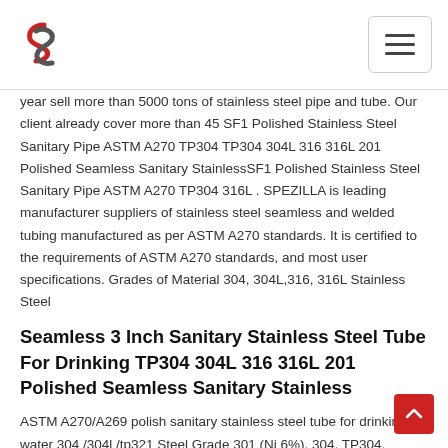Logo and navigation menu
year sell more than 5000 tons of stainless steel pipe and tube. Our client already cover more than 45 SF1 Polished Stainless Steel Sanitary Pipe ASTM A270 TP304 TP304 304L 316 316L 201 Polished Seamless Sanitary StainlessSF1 Polished Stainless Steel Sanitary Pipe ASTM A270 TP304 316L . SPEZILLA is leading manufacturer suppliers of stainless steel seamless and welded tubing manufactured as per ASTM A270 standards. It is certified to the requirements of ASTM A270 standards, and most user specifications. Grades of Material 304, 304L,316, 316L Stainless Steel
Seamless 3 Inch Sanitary Stainless Steel Tube For Drinking TP304 304L 316 316L 201 Polished Seamless Sanitary Stainless
ASTM A270/A269 polish sanitary stainless steel tube for drinking water 304 /304l /tp321 Steel Grade 301 (Ni 6%), 304, TP304, TP304L/304L, 321, TP321, 316, TP316L, 316L, Source